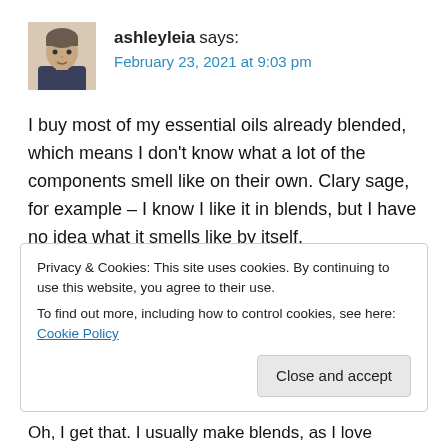[Figure (photo): Avatar photo of a person with short hair, facing forward, dark top, light background]
ashleyleia says:
February 23, 2021 at 9:03 pm
I buy most of my essential oils already blended, which means I don't know what a lot of the components smell like on their own. Clary sage, for example – I know I like it in blends, but I have no idea what it smells like by itself.
★ Liked by 1 person
REPLY
Privacy & Cookies: This site uses cookies. By continuing to use this website, you agree to their use.
To find out more, including how to control cookies, see here: Cookie Policy
Close and accept
Oh, I get that. I usually make blends, as I love